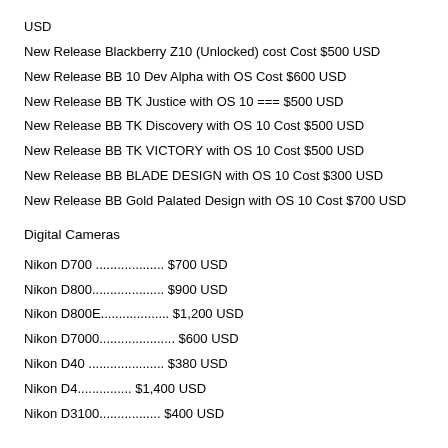USD
New Release Blackberry Z10 (Unlocked) cost Cost $500 USD
New Release BB 10 Dev Alpha with OS Cost $600 USD
New Release BB TK Justice with OS 10 === $500 USD
New Release BB TK Discovery with OS 10 Cost $500 USD
New Release BB TK VICTORY with OS 10 Cost $500 USD
New Release BB BLADE DESIGN with OS 10 Cost $300 USD
New Release BB Gold Palated Design with OS 10 Cost $700 USD
Digital Cameras
Nikon D700 .................. $700 USD
Nikon D800.................... $900 USD
Nikon D800E................... $1,200 USD
Nikon D7000..................... $600 USD
Nikon D40 ..................... $380 USD
Nikon D4............... $1,400 USD
Nikon D3100................. $400 USD